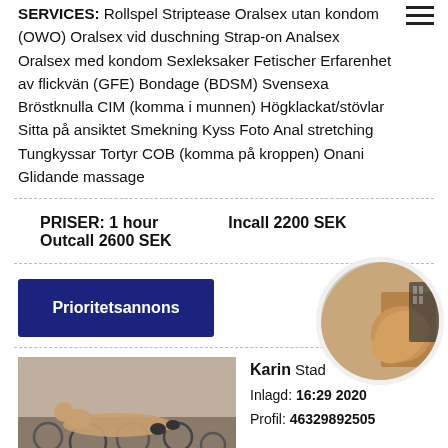SERVICES: Rollspel Striptease Oralsex utan kondom (OWO) Oralsex vid duschning Strap-on Analsex Oralsex med kondom Sexleksaker Fetischer Erfarenhet av flickvän (GFE) Bondage (BDSM) Svensexa Bröstknulla CIM (komma i munnen) Högklackat/stövlar Sitta på ansiktet Smekning Kyss Foto Anal stretching Tungkyssar Tortyr COB (komma på kroppen) Onani Glidande massage
PRISER: 1 hour   Incall 2200 SEK
Outcall 2600 SEK
Prioritetsannons
[Figure (photo): Photo of a person posing on floor with circular objects]
Karin Stad[...]
Inlagd: 16:29 [...] 2020
Profil: 46329892505
[Figure (photo): Circular cropped photo of a person]